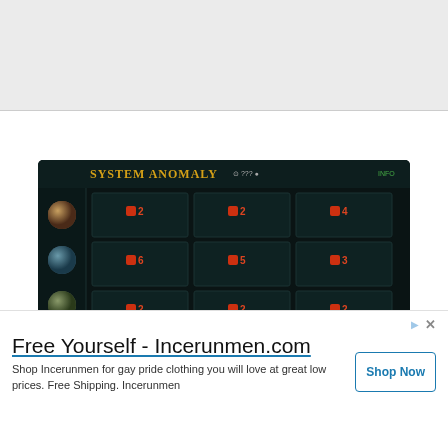[Figure (screenshot): Screenshot of Apex Legends Mobile System Anomaly event screen showing a 3x3 grid of mission slots with red numbered badges and planet icons on the left panel]
Apex Legends Mobile System Anomaly Event Guide
[Figure (screenshot): Thumbnail showing purple hexagonal pattern background with green dot]
[Figure (screenshot): Thumbnail showing fiery orange/brown background with a browser window overlay showing Travel the World text]
Free Yourself - Incerunmen.com
Shop Incerunmen for gay pride clothing you will love at great low prices. Free Shipping. Incerunmen
Shop Now